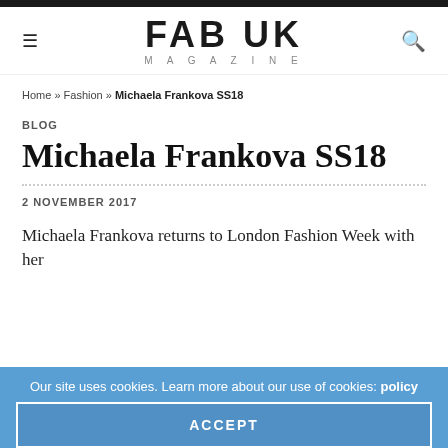FAB UK MAGAZINE
Home » Fashion » Michaela Frankova SS18
BLOG
Michaela Frankova SS18
2 NOVEMBER 2017
Michaela Frankova returns to London Fashion Week with her
Our site uses cookies. Learn more about our use of cookies: policy
ACCEPT